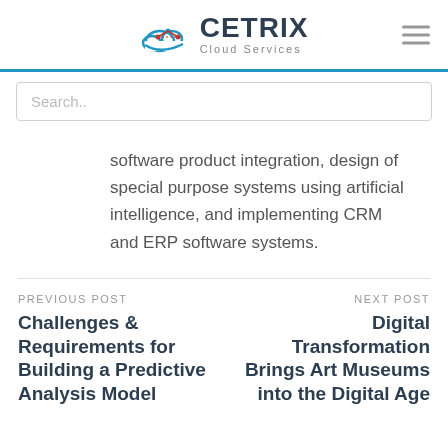CETRIX Cloud Services
Search..
software product integration, design of special purpose systems using artificial intelligence, and implementing CRM and ERP software systems.
PREVIOUS POST
Challenges & Requirements for Building a Predictive Analysis Model
NEXT POST
Digital Transformation Brings Art Museums into the Digital Age